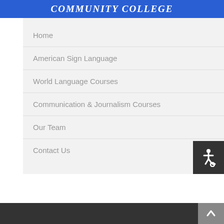COMMUNITY COLLEGE
Home
American Sign Language
World Language Courses
Communication & Journalism Courses
Our Team
Contact Us
[Figure (other): Accessibility icon button (wheelchair symbol) in dark background]
Scroll to top arrow button